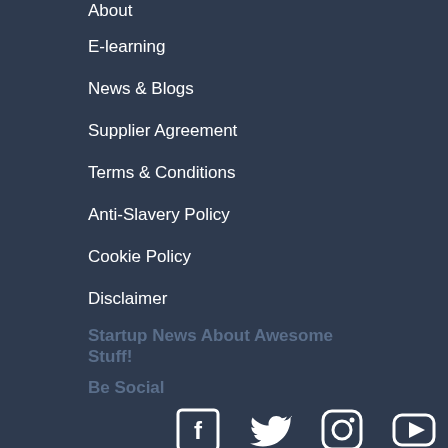About
E-learning
News & Blogs
Supplier Agreement
Terms & Conditions
Anti-Slavery Policy
Cookie Policy
Disclaimer
Startup News About Awesome Stuff!
Be Social
[Figure (illustration): Social media icons: Facebook, Twitter, Instagram, YouTube]